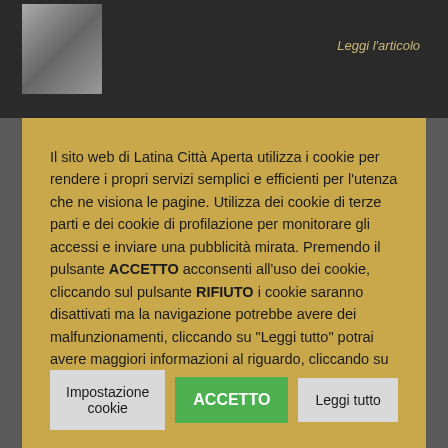[Figure (screenshot): Dark website background with thumbnail image in top-left and 'Leggi l'articolo' link in top-right]
Il sito web di Latina Città Aperta utilizza i cookie per rendere i propri servizi semplici e efficienti per l'utenza che ne visiona le pagine. Utilizza dei cookie di terze parti e dei cookie di profilazione per monitorare gli accessi e inviare una pubblicità mirata. Premendo il pulsante ACCETTO acconsenti all'uso dei cookie, cliccando sul pulsante RIFIUTO i cookie saranno disattivati ma la navigazione potrebbe avere dei malfunzionamenti, cliccando su "Leggi tutto" potrai avere maggiori informazioni al riguardo, cliccando su "Impostazione cookie" potrai scegliere a quali cookie dare il consenso
Impostazione cookie
ACCETTO
Leggi tutto
RIFIUTO
Cognome *